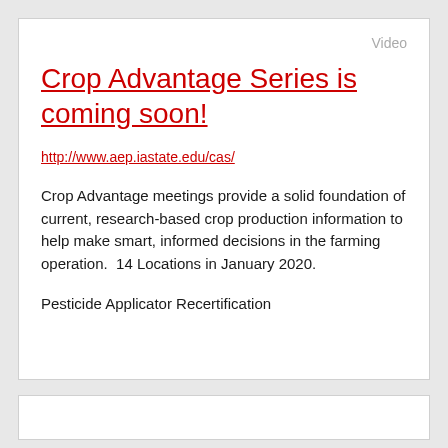Video
Crop Advantage Series is coming soon!
http://www.aep.iastate.edu/cas/
Crop Advantage meetings provide a solid foundation of current, research-based crop production information to help make smart, informed decisions in the farming operation.  14 Locations in January 2020.
Pesticide Applicator Recertification